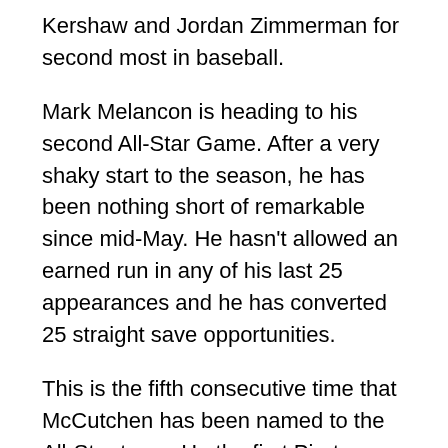Kershaw and Jordan Zimmerman for second most in baseball.
Mark Melancon is heading to his second All-Star Game. After a very shaky start to the season, he has been nothing short of remarkable since mid-May. He hasn't allowed an earned run in any of his last 25 appearances and he has converted 25 straight save opportunities.
This is the fifth consecutive time that McCutchen has been named to the All-Star team. He the first Pirates position player to be named to five straight Midsummer Classics since Roberto Clemente was selected to eight consecutive. Like Melancon, McCutchen got off to a slow start this season leading him to complain of being tired of going "0-for-freakin'-4" every night. Since